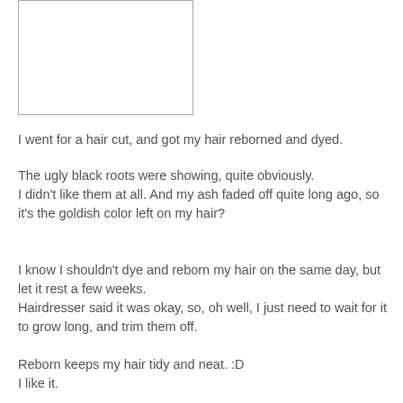[Figure (other): Empty white rectangle with a thin border, representing a placeholder image]
I went for a hair cut, and got my hair reborned and dyed.
The ugly black roots were showing, quite obviously.
I didn't like them at all. And my ash faded off quite long ago, so it's the goldish color left on my hair?
I know I shouldn't dye and reborn my hair on the same day, but let it rest a few weeks.
Hairdresser said it was okay, so, oh well, I just need to wait for it to grow long, and trim them off.
Reborn keeps my hair tidy and neat. :D
I like it.